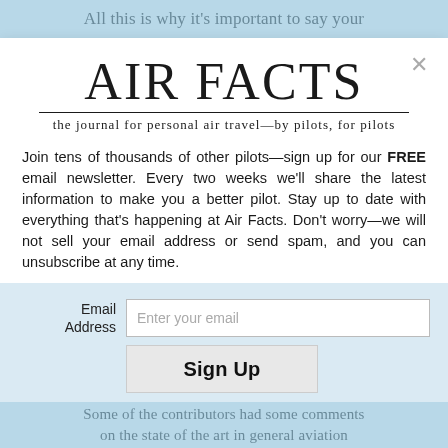All this is why it's important to say your
[Figure (logo): Air Facts journal logo with title 'AIR FACTS' and tagline 'the journal for personal air travel—by pilots, for pilots']
Join tens of thousands of other pilots—sign up for our FREE email newsletter. Every two weeks we'll share the latest information to make you a better pilot. Stay up to date with everything that's happening at Air Facts. Don't worry—we will not sell your email address or send spam, and you can unsubscribe at any time.
Email Address [input: Enter your email] [button: Sign Up]
Some of the contributors had some comments on the state of the art in general aviation